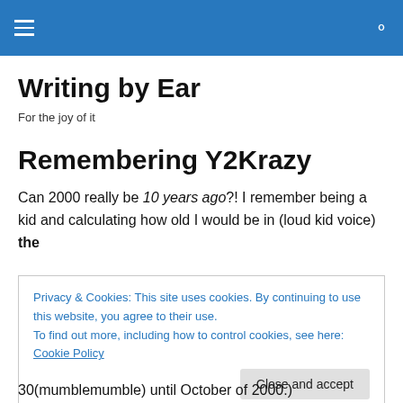☰  🔍
Writing by Ear
For the joy of it
Remembering Y2Krazy
Can 2000 really be 10 years ago?! I remember being a kid and calculating how old I would be in (loud kid voice) the
Privacy & Cookies: This site uses cookies. By continuing to use this website, you agree to their use.
To find out more, including how to control cookies, see here: Cookie Policy
[Close and accept]
30(mumblemumble) until October of 2000.)